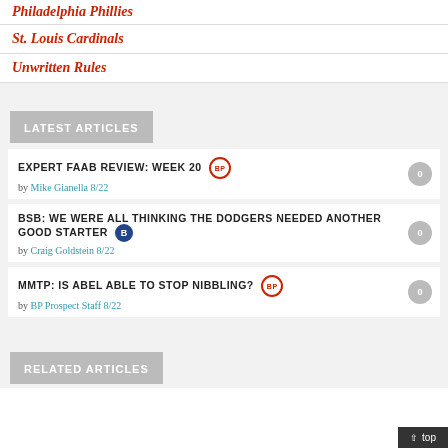Philadelphia Phillies
St. Louis Cardinals
Unwritten Rules
LATEST ARTICLES
EXPERT FAAB REVIEW: WEEK 20 [BP] by Mike Gianella 8/22
BSB: WE WERE ALL THINKING THE DODGERS NEEDED ANOTHER GOOD STARTER [B] by Craig Goldstein 8/22
MMTP: IS ABEL ABLE TO STOP NIBBLING? [BP] by BP Prospect Staff 8/22
RELATED ARTICLES